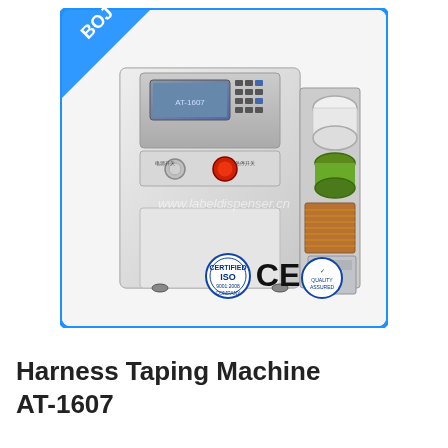[Figure (photo): A Harness Taping Machine AT-1607, white industrial machine with digital control panel, red emergency stop button, green tape spool, and certification logos (ISO, CE) visible. Watermark text 'www.labeldispenser.cn' overlaid. Blue corner badge with 'BOJ' text in top-left.]
Harness Taping Machine AT-1607